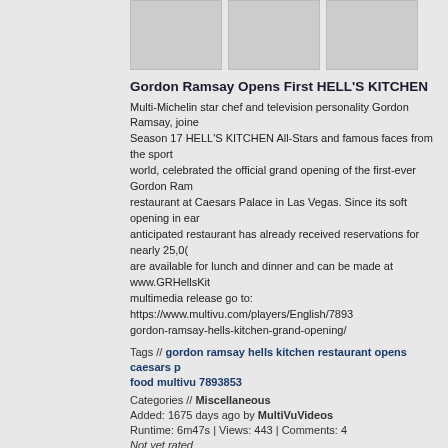[Figure (photo): Three thumbnail images side by side (placeholder gray boxes) for Gordon Ramsay video]
Gordon Ramsay Opens First HELL'S KITCHEN
Multi-Michelin star chef and television personality Gordon Ramsay, joined Season 17 HELL'S KITCHEN All-Stars and famous faces from the sports world, celebrated the official grand opening of the first-ever Gordon Ramsay restaurant at Caesars Palace in Las Vegas. Since its soft opening in early anticipated restaurant has already received reservations for nearly 25,000 are available for lunch and dinner and can be made at www.GRHellsKitc multimedia release go to: https://www.multivu.com/players/English/7893 gordon-ramsay-hells-kitchen-grand-opening/
Tags // gordon ramsay hells kitchen restaurant opens caesars food multivu 7893853
Categories // Miscellaneous
Added: 1675 days ago by MultiVuVideos
Runtime: 6m47s | Views: 443 | Comments: 4
Not yet rated
[Figure (photo): Three thumbnail images side by side (placeholder gray boxes) for Real California Milk video]
Real California Milk 6-ft Cheese Board
Take your holiday gatherings to the next level with modern twists on a fe Many of the secret ingredients to upgrade traditional recipes are already including butter and cheese made with Real California Milk. Get in the h